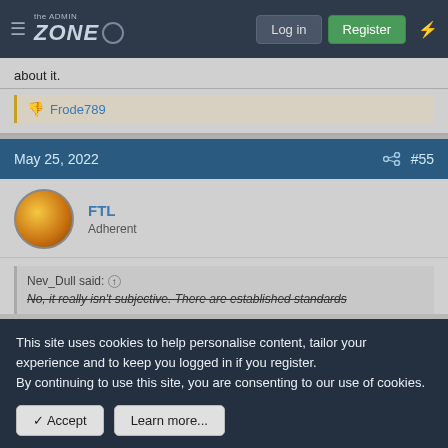the ADMIN ZONE — Log in | Register
about it.
Frode789
May 25, 2022  #55
[Figure (photo): User avatar for FTL — orange circular avatar]
FTL
Adherent
Nev_Dull said: ↑
No, it really isn't subjective. There are established standards
This site uses cookies to help personalise content, tailor your experience and to keep you logged in if you register.
By continuing to use this site, you are consenting to our use of cookies.
✓ Accept    Learn more...